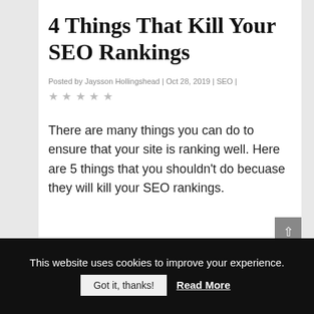4 Things That Kill Your SEO Rankings
Posted by Jaysson Hollingshead | Oct 28, 2019 | SEO |
★★★★★ (star rating, all empty/grey)
There are many things you can do to ensure that your site is ranking well. Here are 5 things that you shouldn't do becuase they will kill your SEO rankings.
This website uses cookies to improve your experience.
Got it, thanks!  Read More